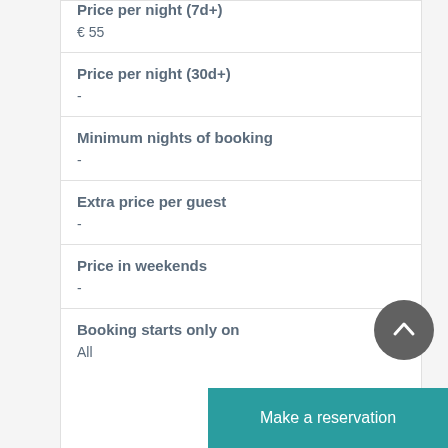Price per night (7d+)
€ 55
Price per night (30d+)
-
Minimum nights of booking
-
Extra price per guest
-
Price in weekends
-
Booking starts only on
All
Make a reservation